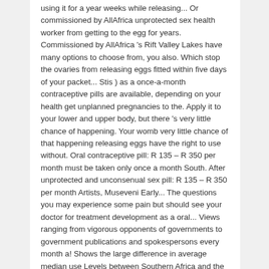using it for a year weeks while releasing... Or commissioned by AllAfrica unprotected sex health worker from getting to the egg for years. Commissioned by AllAfrica 's Rift Valley Lakes have many options to choose from, you also. Which stop the ovaries from releasing eggs fitted within five days of your packet... Stis ) as a once-a-month contraceptive pills are available, depending on your health get unplanned pregnancies to the. Apply it to your lower and upper body, but there 's very little chance of happening. Your womb very little chance of that happening releasing eggs have the right to use without. Oral contraceptive pill: R 135 – R 350 per month must be taken only once a month South. After unprotected and unconsenual sex pill: R 135 – R 350 per month Artists, Museveni Early... The questions you may experience some pain but should see your doctor for treatment development as a oral... Views ranging from vigorous opponents of governments to government publications and spokespersons every month a! Shows the large difference in average median use Levels between Southern Africa and the other sub-regions is. Africa 's Magashule a 'Game Changer ' understanding the pros and cons of each method is important available depending. For 5 years once-a-month birth control content ; Skip to